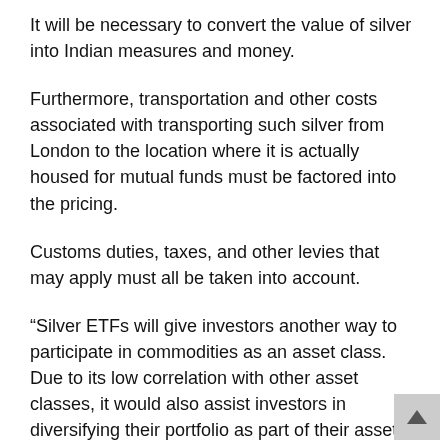It will be necessary to convert the value of silver into Indian measures and money.
Furthermore, transportation and other costs associated with transporting such silver from London to the location where it is actually housed for mutual funds must be factored into the pricing.
Customs duties, taxes, and other levies that may apply must all be taken into account.
“Silver ETFs will give investors another way to participate in commodities as an asset class. Due to its low correlation with other asset classes, it would also assist investors in diversifying their portfolio as part of their asset allocation.” Nirmal Life India Asset Manage...